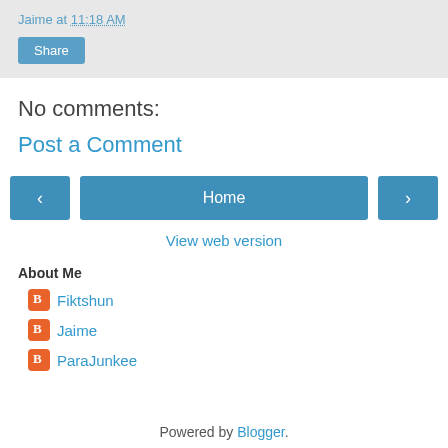Jaime at 11:18 AM
Share
No comments:
Post a Comment
[Figure (other): Navigation buttons: left arrow, Home button, right arrow]
View web version
About Me
Fiktshun
Jaime
ParaJunkee
Powered by Blogger.